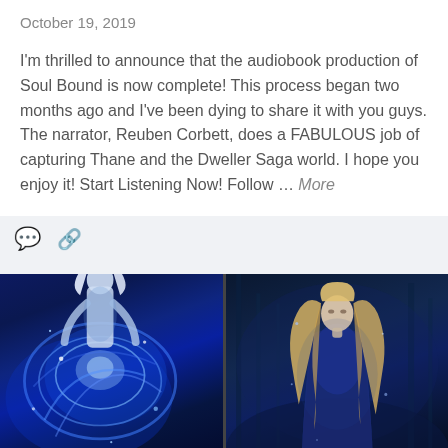October 19, 2019
I'm thrilled to announce that the audiobook production of Soul Bound is now complete! This process began two months ago and I've been dying to share it with you guys. The narrator, Reuben Corbett, does a FABULOUS job of capturing Thane and the Dweller Saga world. I hope you enjoy it! Start Listening Now! Follow … More
[Figure (screenshot): Two fantasy book covers side by side: left shows a male figure with white/silver hair surrounded by blue glowing energy and swirling elements; right shows a female figure with long blonde hair against a dark forest background, both in dark blue tones]